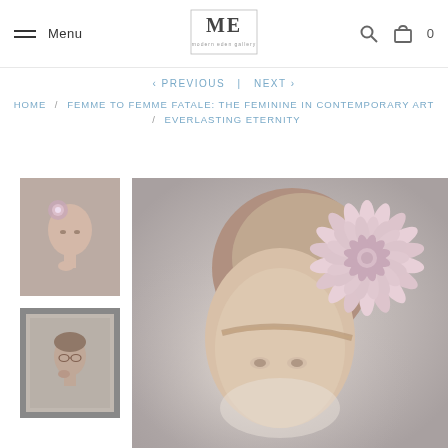Menu | Modern Eden Gallery | Search | Cart 0
< PREVIOUS | NEXT >
HOME / FEMME TO FEMME FATALE: THE FEMININE IN CONTEMPORARY ART / EVERLASTING ETERNITY
[Figure (photo): Small thumbnail of a woman portrait with flowers in hair]
[Figure (photo): Small framed thumbnail of woman portrait]
[Figure (photo): Large main painting of a young woman with a large pink chrysanthemum flower in her hair against a grey background]